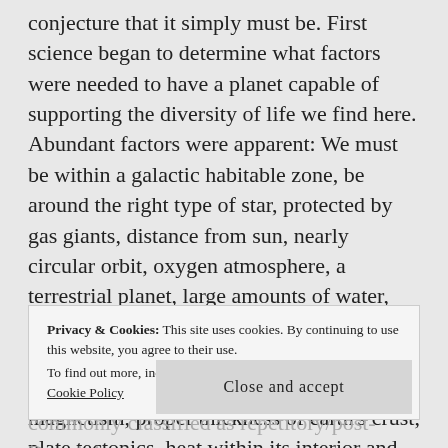conjecture that it simply must be. First science began to determine what factors were needed to have a planet capable of supporting the diversity of life we find here. Abundant factors were apparent: We must be within a galactic habitable zone, be around the right type of star, protected by gas giants, distance from sun, nearly circular orbit, oxygen atmosphere, a terrestrial planet, large amounts of water, one moon the correct size (I could do an amazing write up on the extraordinary moon alone),correct mass, iron core for magnetism, proper thickness of earth's crust, plate tectonics, heat within its interior and on and on, and furthermore they
Privacy & Cookies: This site uses cookies. By continuing to use this website, you agree to their use.
To find out more, including how to control cookies, see here: Cookie Policy
Close and accept
commonly classified as repetitory/post-Darwinian